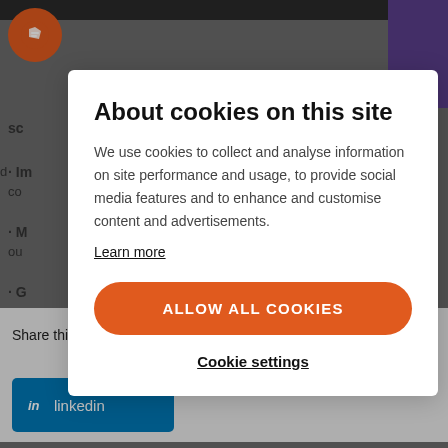[Figure (screenshot): Cookie consent modal overlay on a website. Background shows partial page content with logo, navigation items, and article text. Modal contains title, description text, Learn more link, orange Allow All Cookies button, and Cookie settings link.]
About cookies on this site
We use cookies to collect and analyse information on site performance and usage, to provide social media features and to enhance and customise content and advertisements.
Learn more
ALLOW ALL COOKIES
Cookie settings
Share this article on
twitter
facebook
linkedin